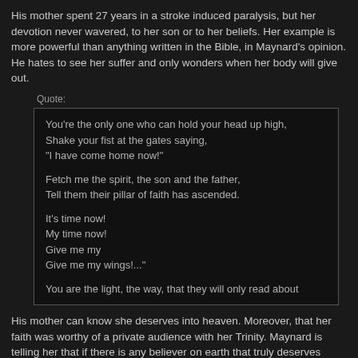His mother spent 27 years in a stroke induced paralysis, but her devotion never wavered, to her son or to her beliefs. Her example is more powerful than anything written in the Bible, in Maynard's opinion. He hates to see her suffer and only wonders when her body will give out.
Quote:
You're the only one who can hold your head up high,
Shake your fist at the gates saying,
"I have come home now!"

Fetch me the spirit, the son and the father,
Tell them their pillar of faith has ascended.

It's time now!
My time now!
Give me my
Give me my wings!..."

You are the light, the way, that they will only read about
His mother can know she deserves into heaven. Moreover, that her faith was worthy of a private audience with her Trinity. Maynard is telling her that if there is any believer on earth that truly deserves sainthood in the afterlife, it's her.
Quote: